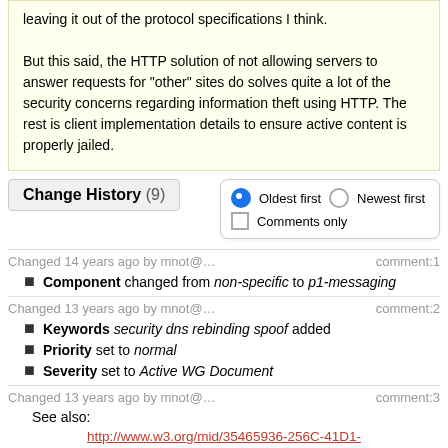leaving it out of the protocol specifications I think.

But this said, the HTTP solution of not allowing servers to answer requests for "other" sites do solves quite a lot of the security concerns regarding information theft using HTTP. The rest is client implementation details to ensure active content is properly jailed.
Change History (9)
Oldest first   Newest first   Comments only
Changed 14 years ago by mnot@…   comment:1
Component changed from non-specific to p1-messaging
Changed 13 years ago by mnot@…   comment:2
Keywords security dns rebinding spoof added
Priority set to normal
Severity set to Active WG Document
Changed 13 years ago by mnot@…   comment:3
See also:
http://www.w3.org/mid/35465936-256C-41D1-9184-A4F2D5EF6154@apple.com
Changed 12 years ago by mnot@…   comment:4